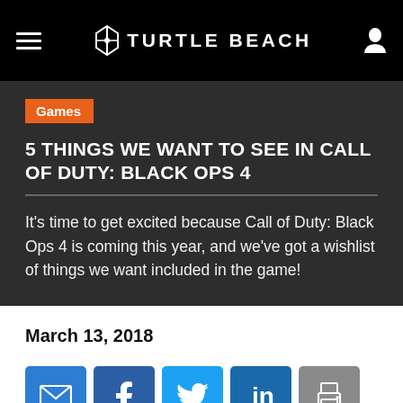Turtle Beach
Games
5 THINGS WE WANT TO SEE IN CALL OF DUTY: BLACK OPS 4
It's time to get excited because Call of Duty: Black Ops 4 is coming this year, and we've got a wishlist of things we want included in the game!
March 13, 2018
[Figure (infographic): Social sharing buttons: email, Facebook, Twitter, LinkedIn, print]